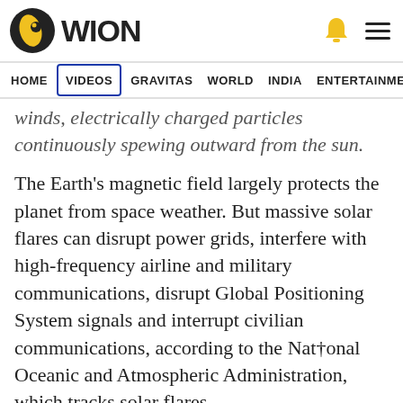WION
HOME | VIDEOS | GRAVITAS | WORLD | INDIA | ENTERTAINMENT | SPORTS
winds, electrically charged particles continuously spewing outward from the sun.
The Earth's magnetic field largely protects the planet from space weather. But massive solar flares can disrupt power grids, interfere with high-frequency airline and military communications, disrupt Global Positioning System signals and interrupt civilian communications, according to the National Oceanic and Atmospheric Administration, which tracks solar flares.
Also read | Water flowed on Mars about a